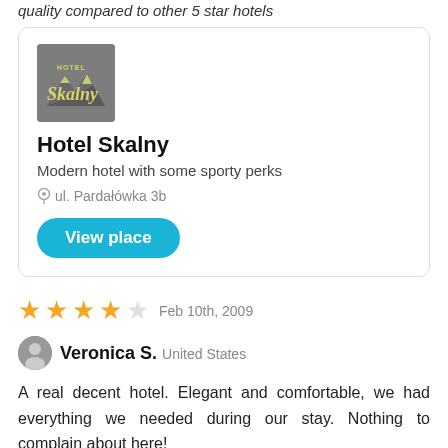quality compared to other 5 star hotels
[Figure (logo): Hotel Skalny logo: grey square background with mountain silhouette and stylized 'Skalny' text in cream/yellow]
Hotel Skalny
Modern hotel with some sporty perks
ul. Pardałówka 3b
View place
Feb 10th, 2009
Veronica S. United States
A real decent hotel. Elegant and comfortable, we had everything we needed during our stay. Nothing to complain about here!